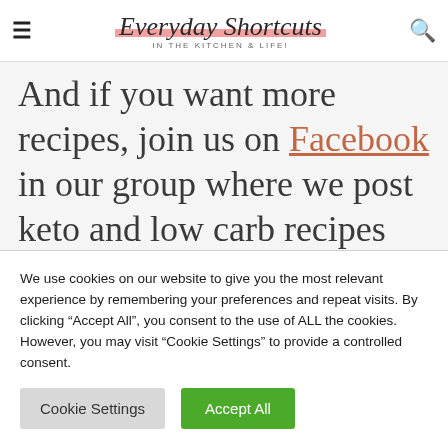Everyday Shortcuts IN THE KITCHEN & LIFE!
And if you want more recipes, join us on Facebook in our group where we post keto and low carb recipes all day!
[Figure (other): Five social media share icons as circles with pink/red outlines]
We use cookies on our website to give you the most relevant experience by remembering your preferences and repeat visits. By clicking “Accept All”, you consent to the use of ALL the cookies. However, you may visit “Cookie Settings” to provide a controlled consent.
Cookie Settings   Accept All